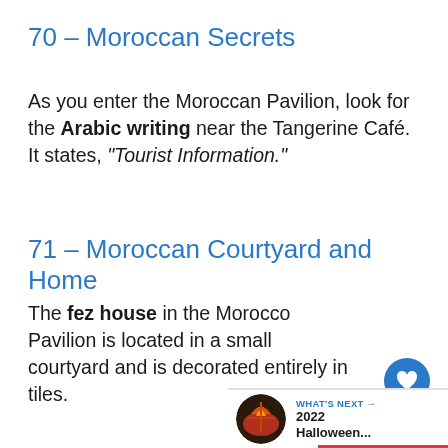70 – Moroccan Secrets
As you enter the Moroccan Pavilion, look for the Arabic writing near the Tangerine Café. It states, "Tourist Information."
71 – Moroccan Courtyard and Home
The fez house in the Morocco Pavilion is located in a small courtyard and is decorated entirely in tiles.
[Figure (other): Heart/like icon button (blue circle with white heart), share icon button, and count label '337']
[Figure (other): What's Next thumbnail and label: '2022 Halloween...' with red underline bar]